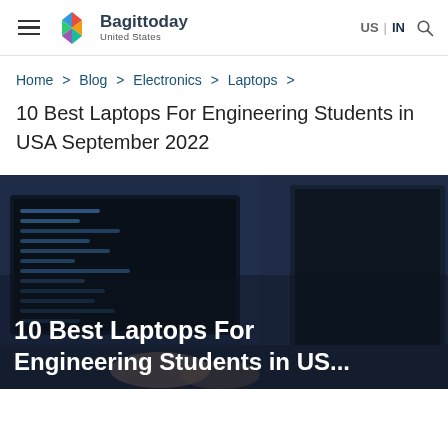Bagittoday United States — US | IN
Home > Blog > Electronics > Laptops >
10 Best Laptops For Engineering Students in USA September 2022
[Figure (photo): Dark blurred background showing a laptop screen with code, with a person's hands visible. Overlay text reads '10 Best Laptops For Engineering Students in USA...']